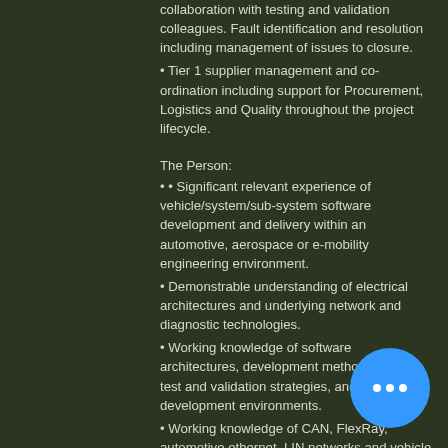collaboration with testing and validation colleagues. Fault identification and resolution including management of issues to closure.
• Tier 1 supplier management and co-ordination including support for Procurement, Logistics and Quality throughout the project lifecycle.
The Person:
• • Significant relevant experience of vehicle/system/sub-system software development and delivery within an automotive, aerospace or e-mobility engineering environment.
• Demonstrable understanding of electrical architectures and underlying network and diagnostic technologies.
• Working knowledge of software architectures, development methodologies, test and validation strategies, and development environments.
• Working knowledge of CAN, FlexRay, automotive ethernet, LIN networks and vehicle diagnostics.
• Experience of project engineering with Tier 1 suppliers, preparation of project documentation and reports. Risk management, mitigation, and recovery planning.
• Experience of system/component delivery within an APQP, six sigma or similar framework (FMEA, DVP, quality planning, PPAP etc) and full product lifecycle activities.
• Articulate, self-motivated, and able to work on own initiative.
• Possession of an Electronics, Control Systems, Software Engineering, Automotive or similar